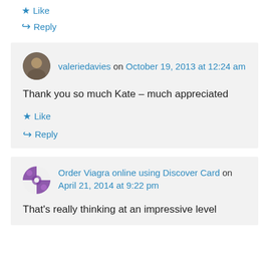★ Like
↳ Reply
valeriedavies on October 19, 2013 at 12:24 am
Thank you so much Kate – much appreciated
★ Like
↳ Reply
Order Viagra online using Discover Card on April 21, 2014 at 9:22 pm
That's really thinking at an impressive level